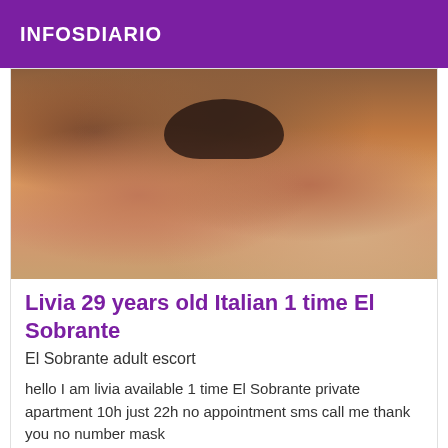INFOSDIARIO
[Figure (photo): Photo of a woman posed on a rug/floor, wearing dark lace lingerie, warm toned skin, decorative wallpaper background]
Livia 29 years old Italian 1 time El Sobrante
El Sobrante adult escort
hello I am livia available 1 time El Sobrante private apartment 10h just 22h no appointment sms call me thank you no number mask
[Figure (photo): Partially visible photo at bottom of page with a purple 'Verified' badge in the bottom right corner]